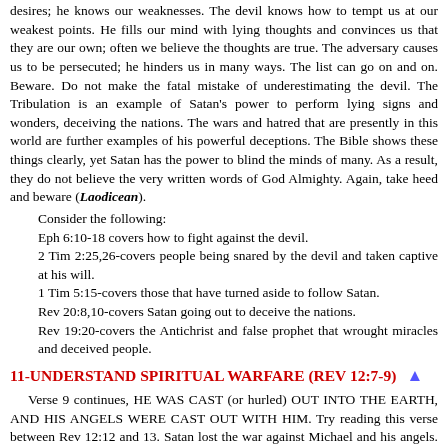desires; he knows our weaknesses. The devil knows how to tempt us at our weakest points. He fills our mind with lying thoughts and convinces us that they are our own; often we believe the thoughts are true. The adversary causes us to be persecuted; he hinders us in many ways. The list can go on and on. Beware. Do not make the fatal mistake of underestimating the devil. The Tribulation is an example of Satan's power to perform lying signs and wonders, deceiving the nations. The wars and hatred that are presently in this world are further examples of his powerful deceptions. The Bible shows these things clearly, yet Satan has the power to blind the minds of many. As a result, they do not believe the very written words of God Almighty. Again, take heed and beware (Laodicean).
Consider the following:
Eph 6:10-18 covers how to fight against the devil.
2 Tim 2:25,26-covers people being snared by the devil and taken captive at his will.
1 Tim 5:15-covers those that have turned aside to follow Satan.
Rev 20:8,10-covers Satan going out to deceive the nations.
Rev 19:20-covers the Antichrist and false prophet that wrought miracles and deceived people.
11-UNDERSTAND SPIRITUAL WARFARE (REV 12:7-9)
Verse 9 continues, HE WAS CAST (or hurled) OUT INTO THE EARTH, AND HIS ANGELS WERE CAST OUT WITH HIM. Try reading this verse between Rev 12:12 and 13. Satan lost the war against Michael and his angels. He and his angels were cast out of heaven.
Regarding Satan:
v.7, 8-THE DRAGON...NEITHER WAS THEIR PLACE FOUND ANY MORE IN HEAVEN.
v.9-THE DRAGON WAS CAST OUT...